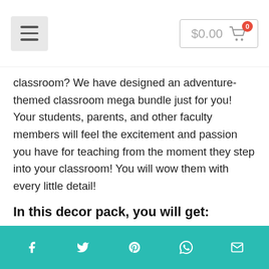$0.00 cart
classroom? We have designed an adventure-themed classroom mega bundle just for you! Your students, parents, and other faculty members will feel the excitement and passion you have for teaching from the moment they step into your classroom! You will wow them with every little detail!
In this decor pack, you will get:
Multiple Easy To Read Alphabet
Share icons: Facebook, Twitter, Pinterest, WhatsApp, Email